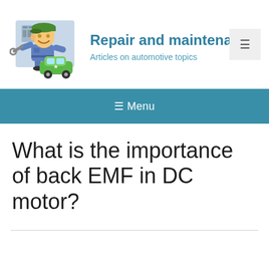[Figure (illustration): Cartoon mechanic with a wrench working on a small green car, wearing blue overalls and green cap]
Repair and maintenance
Articles on automotive topics
≡ Menu
What is the importance of back EMF in DC motor?